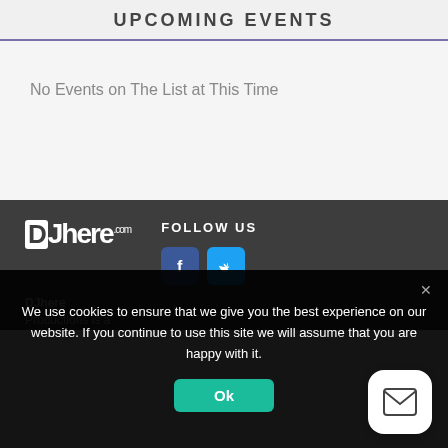UPCOMING EVENTS
No Events on The List at This Time
[Figure (logo): DJhere.com logo in white text on dark background]
FOLLOW US
[Figure (illustration): Facebook and Twitter social media icons]
DJhere Productions is a
We use cookies to ensure that we give you the best experience on our website. If you continue to use this site we will assume that you are happy with it.
[Figure (illustration): Ok button (teal/green) for cookie consent]
[Figure (illustration): Mail/email floating action button (white rounded square with envelope icon)]